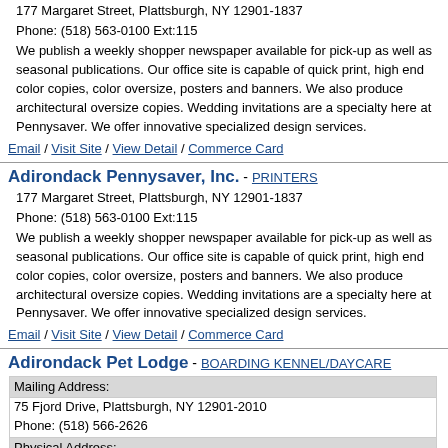177 Margaret Street, Plattsburgh, NY  12901-1837
Phone: (518) 563-0100 Ext:115
We publish a weekly shopper newspaper available for pick-up as well as seasonal publications. Our office site is capable of quick print, high end color copies, color oversize, posters and banners. We also produce architectural oversize copies. Wedding invitations are a specialty here at Pennysaver. We offer innovative specialized design services.
Email / Visit Site / View Detail / Commerce Card
Adirondack Pennysaver, Inc. - PRINTERS
177 Margaret Street, Plattsburgh, NY  12901-1837
Phone: (518) 563-0100 Ext:115
We publish a weekly shopper newspaper available for pick-up as well as seasonal publications. Our office site is capable of quick print, high end color copies, color oversize, posters and banners. We also produce architectural oversize copies. Wedding invitations are a specialty here at Pennysaver. We offer innovative specialized design services.
Email / Visit Site / View Detail / Commerce Card
Adirondack Pet Lodge - BOARDING KENNEL/DAYCARE
| Mailing Address: |  |
| --- | --- |
| 75 Fjord Drive, Plattsburgh, NY  12901-2010 |  |
| Phone: (518) 566-2626 |  |
| Physical Address: |  |
| 5 Kaycee Loop Road, Plattsburgh, NY  12901 |  |
We offer full service doggie daycare and dog and cat boarding. We do baths, nail trims walks and cuddle time. We have 3 various size kennels and multilevel kitty condos. Dogs get to play inside and outside. Web cam viewing